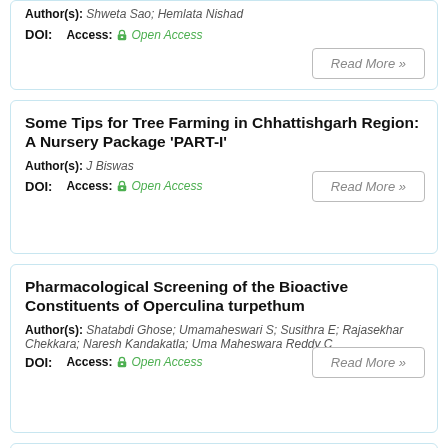Author(s): Shweta Sao; Hemlata Nishad
DOI:   Access: Open Access
Some Tips for Tree Farming in Chhattishgarh Region: A Nursery Package 'PART-I'
Author(s): J Biswas
DOI:   Access: Open Access
Pharmacological Screening of the Bioactive Constituents of Operculina turpethum
Author(s): Shatabdi Ghose; Umamaheswari S; Susithra E; Rajasekhar Chekkara; Naresh Kandakatla; Uma Maheswara Reddy C
DOI:   Access: Open Access
Effectiveness of I.C.D.S. in child care in Rural and Tribal areas of Chhatisgarh, M.P.